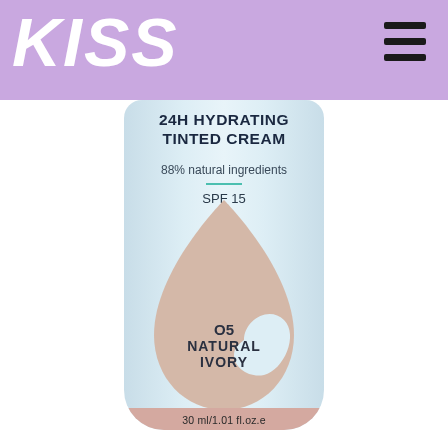KISS
[Figure (photo): A cosmetic tube of KISS 24H Hydrating Tinted Cream, shade 05 Natural Ivory, 30ml/1.01 fl.oz., with 88% natural ingredients and SPF 15. The tube is light blue with a large beige/tan drop shape on the front. The page has a lavender/purple header bar with the KISS logo in white italic bold text and a hamburger menu icon on the right.]